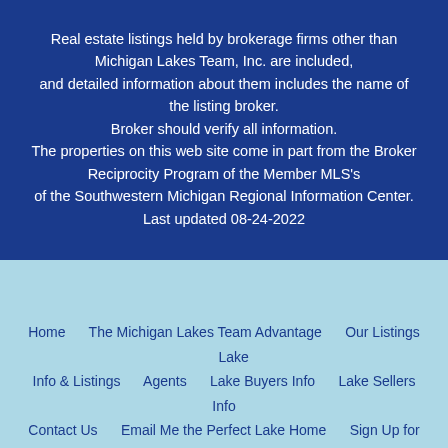Real estate listings held by brokerage firms other than Michigan Lakes Team, Inc. are included, and detailed information about them includes the name of the listing broker. Broker should verify all information.

The properties on this web site come in part from the Broker Reciprocity Program of the Member MLS's of the Southwestern Michigan Regional Information Center.

Last updated 08-24-2022
Home    The Michigan Lakes Team Advantage    Our Listings    Lake Info & Listings    Agents    Lake Buyers Info    Lake Sellers Info    Contact Us    Email Me the Perfect Lake Home    Sign Up for Auto Delivery of New Listings